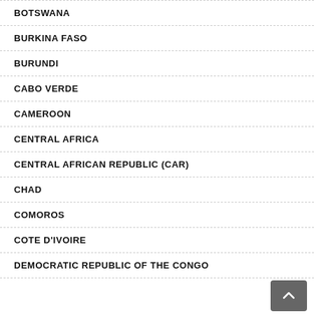BOTSWANA
BURKINA FASO
BURUNDI
CABO VERDE
CAMEROON
CENTRAL AFRICA
CENTRAL AFRICAN REPUBLIC (CAR)
CHAD
COMOROS
COTE D'IVOIRE
DEMOCRATIC REPUBLIC OF THE CONGO